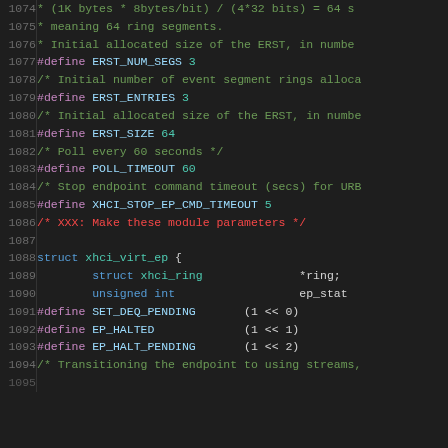Source code listing, lines 1074-1094, C header file with xhci driver definitions
1074: * (1K bytes * 8bytes/bit) / (4*32 bits) = 64 s
1075: * meaning 64 ring segments.
1076: * Initial allocated size of the ERST, in numbe
1077: #define ERST_NUM_SEGS  3
1078: /* Initial number of event segment rings alloca
1079: #define ERST_ENTRIES   3
1080: /* Initial allocated size of the ERST, in numbe
1081: #define ERST_SIZE      64
1082: /* Poll every 60 seconds */
1083: #define POLL_TIMEOUT   60
1084: /* Stop endpoint command timeout (secs) for URB
1085: #define XHCI_STOP_EP_CMD_TIMEOUT   5
1086: /* XXX: Make these module parameters */
1087: (blank)
1088: struct xhci_virt_ep {
1089:         struct xhci_ring              *ring;
1090:         unsigned int                  ep_stat
1091: #define SET_DEQ_PENDING       (1 << 0)
1092: #define EP_HALTED             (1 << 1)
1093: #define EP_HALT_PENDING       (1 << 2)
1094: /* Transitioning the endpoint to using streams,